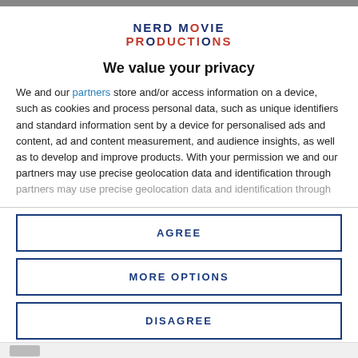[Figure (logo): Nerd Movie Productions logo — two lines of bold text, 'NERD MOVIE' in dark navy and 'PRODUCTIONS' in red with a film reel icon replacing the O]
We value your privacy
We and our partners store and/or access information on a device, such as cookies and process personal data, such as unique identifiers and standard information sent by a device for personalised ads and content, ad and content measurement, and audience insights, as well as to develop and improve products. With your permission we and our partners may use precise geolocation data and identification through
AGREE
MORE OPTIONS
DISAGREE